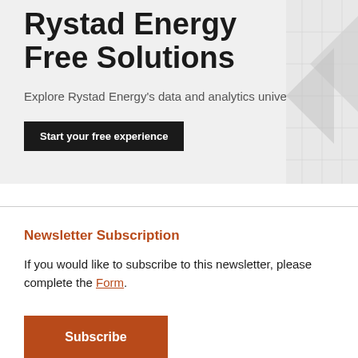Rystad Energy Free Solutions
Explore Rystad Energy's data and analytics universe
[Figure (other): Dark button labeled 'Start your free experience']
[Figure (other): Decorative chart/graph graphic in grey on the right side of the banner]
Newsletter Subscription
If you would like to subscribe to this newsletter, please complete the Form.
[Figure (other): Orange 'Subscribe' button]